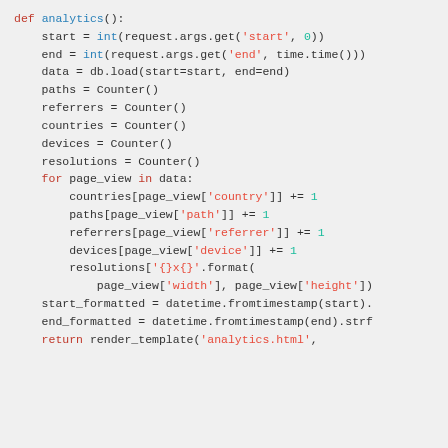[Figure (screenshot): Python source code snippet showing the analytics() function definition with Counter objects, a for loop iterating over data, and return statement with render_template.]